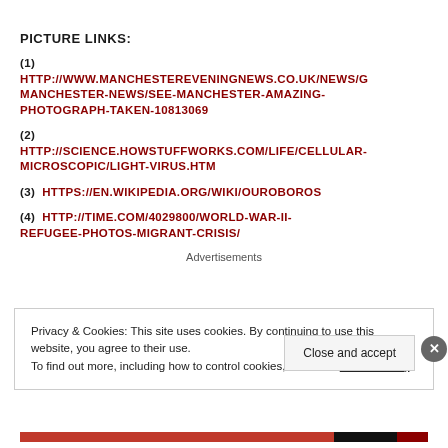PICTURE LINKS:
(1) HTTP://WWW.MANCHESTEREVENINGNEWS.CO.UK/NEWS/G MANCHESTER-NEWS/SEE-MANCHESTER-AMAZING-PHOTOGRAPH-TAKEN-10813069
(2) HTTP://SCIENCE.HOWSTUFFWORKS.COM/LIFE/CELLULAR-MICROSCOPIC/LIGHT-VIRUS.HTM
(3) HTTPS://EN.WIKIPEDIA.ORG/WIKI/OUROBOROS
(4) HTTP://TIME.COM/4029800/WORLD-WAR-II-REFUGEE-PHOTOS-MIGRANT-CRISIS/
Advertisements
Privacy & Cookies: This site uses cookies. By continuing to use this website, you agree to their use. To find out more, including how to control cookies, see here: Cookie Policy
Close and accept